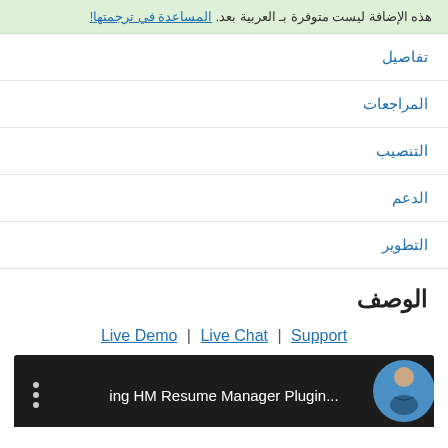هذه الإضافة ليست متوفرة بـ العربية بعد. المساعدة في ترجمتها!
تفاصيل
المراجعات
التنصيب
الدعم
التطوير
الوصف
Live Demo | Live Chat | Support
[Figure (screenshot): Video thumbnail showing dark bar with three dots menu, text '...ing HM Resume Manager Plugin' and a circular avatar of a person on the right]